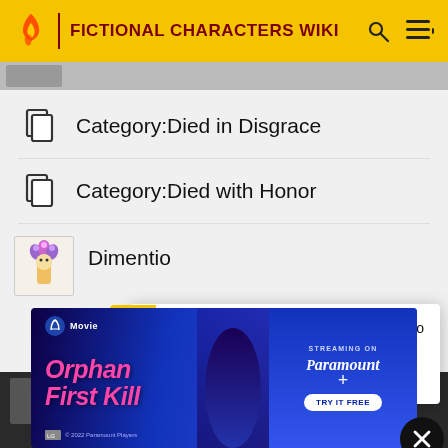FICTIONAL CHARACTERS WIKI
Category:Died in Disgrace
Category:Died with Honor
Dimentio
Watermelon survey … What do you think about Harry Styles?
TAKE THE SURVEY HERE
[Figure (screenshot): Orphan: First Kill — Streaming on Paramount+ advertisement banner]
Orphan First Kill — Streaming on Paramount+ — TRY IT FREE